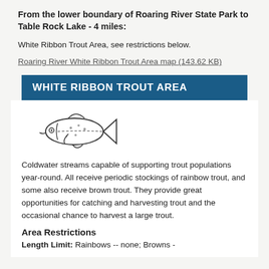From the lower boundary of Roaring River State Park to Table Rock Lake - 4 miles:
White Ribbon Trout Area, see restrictions below.
Roaring River White Ribbon Trout Area map (143.62 KB)
WHITE RIBBON TROUT AREA
[Figure (illustration): Line drawing illustration of a trout fish facing left]
Coldwater streams capable of supporting trout populations year-round. All receive periodic stockings of rainbow trout, and some also receive brown trout. They provide great opportunities for catching and harvesting trout and the occasional chance to harvest a large trout.
Area Restrictions
Length Limit: Rainbows -- none; Browns -